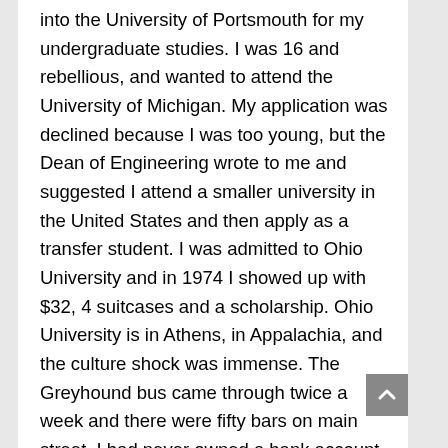into the University of Portsmouth for my undergraduate studies. I was 16 and rebellious, and wanted to attend the University of Michigan. My application was declined because I was too young, but the Dean of Engineering wrote to me and suggested I attend a smaller university in the United States and then apply as a transfer student. I was admitted to Ohio University and in 1974 I showed up with $32, 4 suitcases and a scholarship. Ohio University is in Athens, in Appalachia, and the culture shock was immense. The Greyhound bus came through twice a week and there were fifty bars on main street. I had never owned a bank account, did not know how to feed myself, or manage money. My allowance for discretionary spending was $5 per month. In 1975 I transferred to the University of Michigan and my father started funding my education. I worked in an Orange Julius fast food place